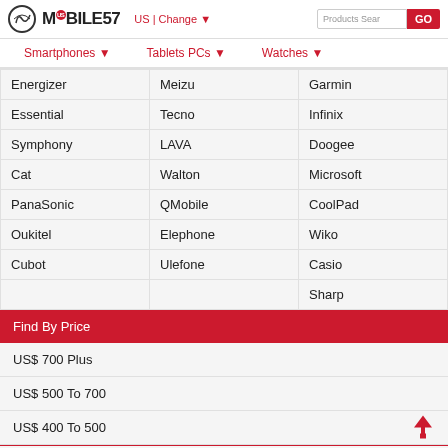MOBILE57 US | Change
| Energizer | Meizu | Garmin |
| Essential | Tecno | Infinix |
| Symphony | LAVA | Doogee |
| Cat | Walton | Microsoft |
| PanaSonic | QMobile | CoolPad |
| Oukitel | Elephone | Wiko |
| Cubot | Ulefone | Casio |
|  |  | Sharp |
Find By Price
US$ 700 Plus
US$ 500 To 700
US$ 400 To 500
US$ 300 To 400